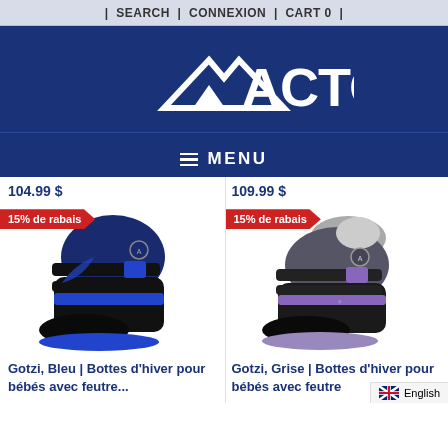| SEARCH | CONNEXION | CART 0 |
[Figure (logo): ACTON brand logo with mountain/arrow icon on dark blue background]
≡ MENU
104.99 $
109.99 $
[Figure (photo): Blue and black children's winter boot (Gotzi, Bleu) with velcro straps and blue sole, with 15% de rabais badge]
[Figure (photo): Grey and black children's winter boot (Gotzi, Grise) with velcro straps and grey felt lining, with 15% de rabais badge]
Gotzi, Bleu | Bottes d'hiver pour bébés avec feutre...
Gotzi, Grise | Bottes d'hiver pour bébés avec feutre
English